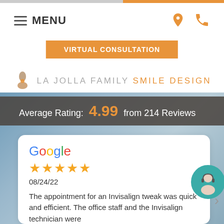MENU
VIRTUAL CONSULTATION
[Figure (logo): La Jolla Family Smile Design logo with flower/cross icon and text]
Average Rating: 4.99 from 214 Reviews
Google ★★★★★ 08/24/22 The appointment for an Invisalign tweak was quick and efficient. The office staff and the Invisalign technician were
[Figure (photo): Female customer service representative avatar with headset in teal circle]